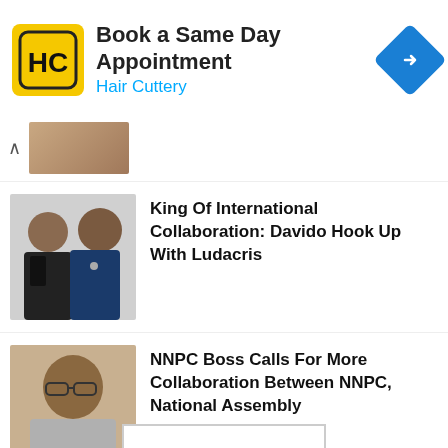[Figure (screenshot): Hair Cuttery advertisement banner: HC logo (yellow square with black HC letters), 'Book a Same Day Appointment' text, 'Hair Cuttery' subtitle in blue, and blue navigation arrow icon]
[Figure (photo): Collapsed news item thumbnail showing partial person image]
[Figure (photo): Photo of two men - Davido and Ludacris, smiling in formal attire]
King Of International Collaboration: Davido Hook Up With Ludacris
[Figure (photo): Photo of NNPC Boss, a man wearing glasses]
NNPC Boss Calls For More Collaboration Between NNPC, National Assembly
[Figure (photo): Black and white photo of Dr. Sid wearing sunglasses]
Dr. Sid Signs New Mavin Records Deal